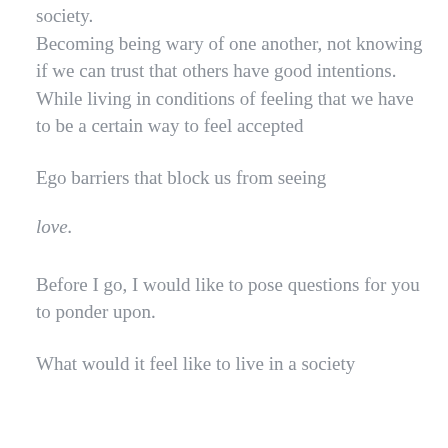society.
Becoming being wary of one another, not knowing if we can trust that others have good intentions.
While living in conditions of feeling that we have to be a certain way to feel accepted
Ego barriers that block us from seeing
love.
Before I go, I would like to pose questions for you to ponder upon.
What would it feel like to live in a society